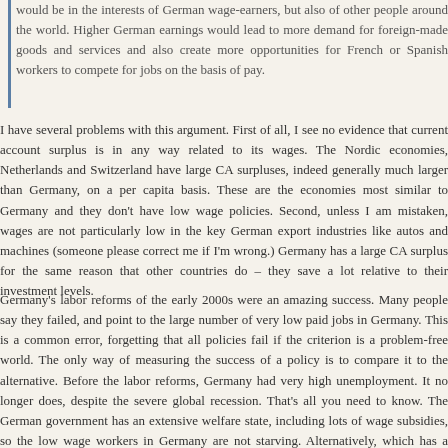would be in the interests of German wage-earners, but also of other people around the world. Higher German earnings would lead to more demand for foreign-made goods and services and also create more opportunities for French or Spanish workers to compete for jobs on the basis of pay.
I have several problems with this argument. First of all, I see no evidence that current account surplus is in any way related to its wages. The Nordic economies, Netherlands and Switzerland have large CA surpluses, indeed generally much larger than Germany, on a per capita basis. These are the economies most similar to Germany and they don't have low wage policies. Second, unless I am mistaken, wages are not particularly low in the key German export industries like autos and machines (someone please correct me if I'm wrong.) Germany has a large CA surplus for the same reason that other countries do – they save a lot relative to their investment levels.
Germany's labor reforms of the early 2000s were an amazing success. Many people say they failed, and point to the large number of very low paid jobs in Germany. This is a common error, forgetting that all policies fail if the criterion is a problem-free world. The only way of measuring the success of a policy is to compare it to the alternative. Before the labor reforms, Germany had very high unemployment. It no longer does, despite the severe global recession. That's all you need to know. The German government has an extensive welfare state, including lots of wage subsidies, so the low wage workers in Germany are not starving. Alternatively, which has a brighter future; Germany with 7.7% youth unemployment, or Greece with 60% youth unemployment?